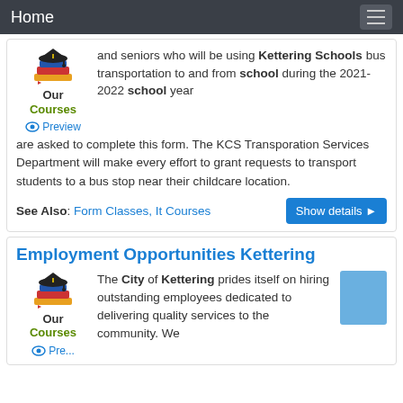Home
and seniors who will be using Kettering Schools bus transportation to and from school during the 2021-2022 school year are asked to complete this form. The KCS Transporation Services Department will make every effort to grant requests to transport students to a bus stop near their childcare location.
See Also: Form Classes, It Courses
Employment Opportunities Kettering
The City of Kettering prides itself on hiring outstanding employees dedicated to delivering quality services to the community. We